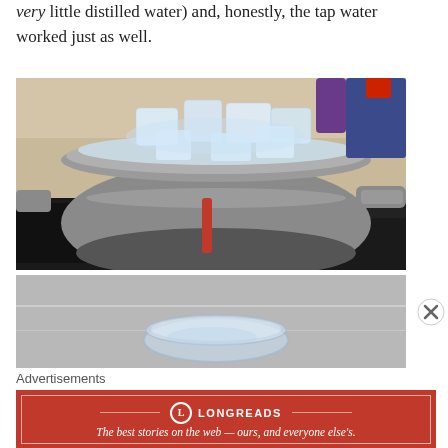very little distilled water) and, honestly, the tap water worked just as well.
[Figure (photo): A stainless steel pot with a lid covered in ice cubes sitting on a black stovetop, used in a home distillation setup.]
[Figure (photo): A glass container partially visible at the bottom, appearing to collect distilled water, shown on a stainless surface.]
Advertisements
[Figure (logo): Longreads advertisement banner: 'The best stories on the web — ours, and everyone else's.']